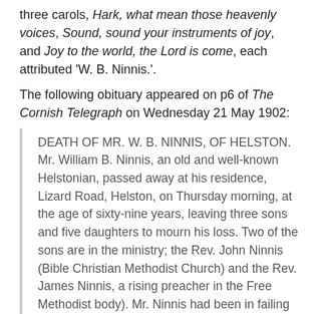three carols, Hark, what mean those heavenly voices, Sound, sound your instruments of joy, and Joy to the world, the Lord is come, each attributed 'W. B. Ninnis.'.
The following obituary appeared on p6 of The Cornish Telegraph on Wednesday 21 May 1902:
DEATH OF MR. W. B. NINNIS, OF HELSTON. Mr. William B. Ninnis, an old and well-known Helstonian, passed away at his residence, Lizard Road, Helston, on Thursday morning, at the age of sixty-nine years, leaving three sons and five daughters to mourn his loss. Two of the sons are in the ministry; the Rev. John Ninnis (Bible Christian Methodist Church) and the Rev. James Ninnis, a rising preacher in the Free Methodist body). Mr. Ninnis had been in failing health some time. For a great number of years he was the senior Helston postman, and had only recently retired. He was a member and local preacher of the